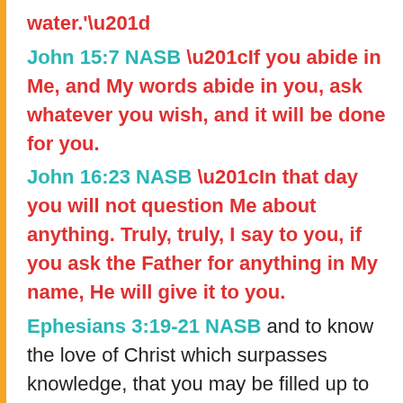water.'”
John 15:7 NASB “If you abide in Me, and My words abide in you, ask whatever you wish, and it will be done for you.
John 16:23 NASB “In that day you will not question Me about anything. Truly, truly, I say to you, if you ask the Father for anything in My name, He will give it to you.
Ephesians 3:19-21 NASB and to know the love of Christ which surpasses knowledge, that you may be filled up to all the fullness of God. 20 Now to Him who is able to do far more abundantly beyond all that we ask or think, according to the power that works within us, 21 to Him be the glory in the church and in Christ Jesus to all generations...